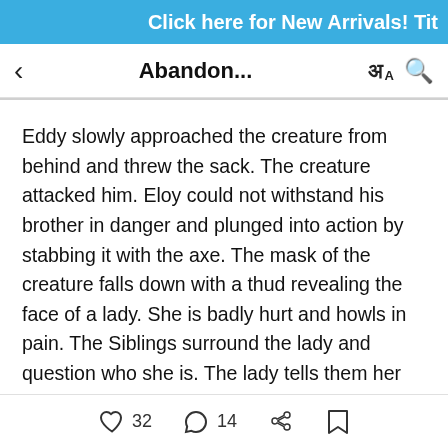Click here for New Arrivals! Tit
Abandon...
Eddy slowly approached the creature from behind and threw the sack. The creature attacked him. Eloy could not withstand his brother in danger and plunged into action by stabbing it with the axe. The mask of the creature falls down with a thud revealing the face of a lady. She is badly hurt and howls in pain. The Siblings surround the lady and question who she is. The lady tells them her story.
She was a rich girl living in this house who never helped the needy nor like the people who were
32  14